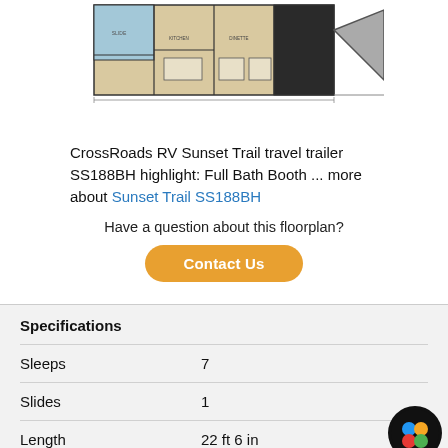[Figure (illustration): Top portion of a CrossRoads RV Sunset Trail SS188BH travel trailer floorplan diagram showing layout with rooms and hitch]
CrossRoads RV Sunset Trail travel trailer SS188BH highlight: Full Bath Booth ... more about Sunset Trail SS188BH
Have a question about this floorplan?
Contact Us
Specifications
|  |  |
| --- | --- |
| Sleeps | 7 |
| Slides | 1 |
| Length | 22 ft 6 in |